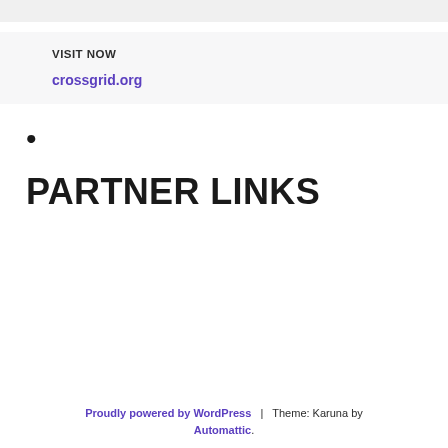VISIT NOW
crossgrid.org
•
PARTNER LINKS
Proudly powered by WordPress  |  Theme: Karuna by Automattic.